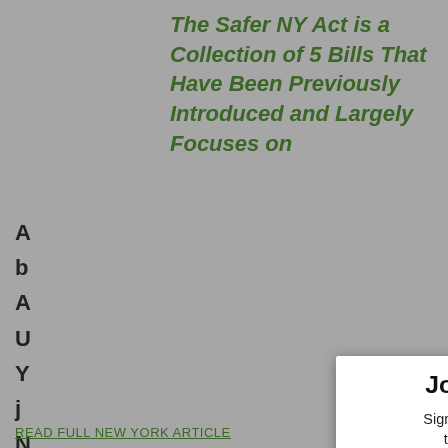The Safer NY Act is a Collection of 5 Bills That Have Been Previously Introduced and Largely Focuses on
[Figure (screenshot): Newsletter signup modal popup overlay with title 'Join Our Newsletter', descriptive text, email and name input fields, a green SUBSCRIBE button, and a fine-print disclaimer. Background shows a partially visible article about the Safer NY Act.]
Join Our Newsletter
Sign up today for free and be the first to get notified on new updates.
Enter Your Email
Enter Your Name
SUBSCRIBE
We do not sell or share your information with anyone.
READ FULL NEW YORK ARTICLE